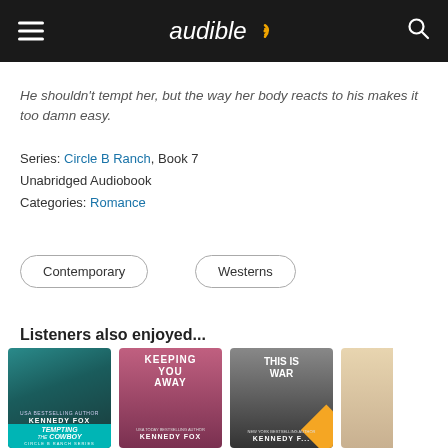[Figure (screenshot): Audible app header with hamburger menu, Audible logo, and search icon on dark background]
He shouldn't tempt her, but the way her body reacts to his makes it too damn easy.
Series: Circle B Ranch, Book 7
Unabridged Audiobook
Categories: Romance
Contemporary
Westerns
Listeners also enjoyed...
[Figure (photo): Book covers row: Tempting the Cowboy by Kennedy Fox, Keeping You Away by Kennedy Fox, This Is War by Kennedy Fox, partial fourth cover]